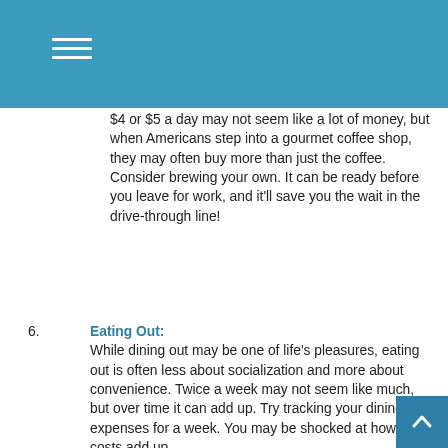$4 or $5 a day may not seem like a lot of money, but when Americans step into a gourmet coffee shop, they may often buy more than just the coffee. Consider brewing your own. It can be ready before you leave for work, and it'll save you the wait in the drive-through line!
6. Eating Out: While dining out may be one of life's pleasures, eating out is often less about socialization and more about convenience. Twice a week may not seem like much, but over time it can add up. Try tracking your dining-out expenses for a week. You may be shocked at how fast costs add up.
The content is developed from sources believed to be providing accurate information. The information in this material is not intended as tax or legal advice. It may not be used for the purpose of avoiding any federal tax penalties. Please consult legal or tax professionals for specific information regarding your individual situation. This material was developed and produced by FMG Suite to provide information on a topic that may be of interest. FMG Suite is not affiliated with the named broker-dealer, state- or SEC-registered investment advisory firm. The opinions expressed and material provided are for general information, and should not be considered a solicitation for the purchase or sale of any security. Copyright 2022 FMG Suite.